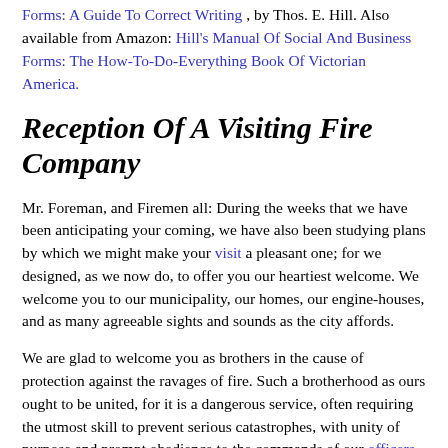Forms: A Guide To Correct Writing, by Thos. E. Hill. Also available from Amazon: Hill's Manual Of Social And Business Forms: The How-To-Do-Everything Book Of Victorian America.
Reception Of A Visiting Fire Company
Mr. Foreman, and Firemen all: During the weeks that we have been anticipating your coming, we have also been studying plans by which we might make your visit a pleasant one; for we designed, as we now do, to offer you our heartiest welcome. We welcome you to our municipality, our homes, our engine-houses, and as many agreeable sights and sounds as the city affords.
We are glad to welcome you as brothers in the cause of protection against the ravages of fire. Such a brotherhood as ours ought to be united, for it is a dangerous service, often requiring the utmost skill to prevent serious catastrophes, with unity of purpose and prompt obedience to the commands of our officers.
It is understood that you have brought with you your machine, and we